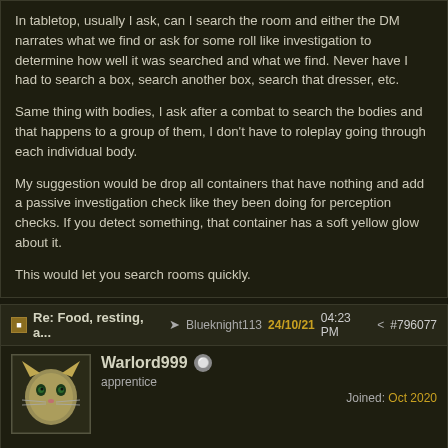In tabletop, usually I ask, can I search the room and either the DM narrates what we find or ask for some roll like investigation to determine how well it was searched and what we find. Never have I had to search a box, search another box, search that dresser, etc.
Same thing with bodies, I ask after a combat to search the bodies and that happens to a group of them, I don't have to roleplay going through each individual body.
My suggestion would be drop all containers that have nothing and add a passive investigation check like they been doing for perception checks. If you detect something, that container has a soft yellow glow about it.
This would let you search rooms quickly.
Re: Food, resting, a... Blueknight113 24/10/21 04:23 PM #796077
Warlord999 apprentice Joined: Oct 2020
Probably when they release the game there will be difficulty levels thus for players that don't like a challenge and/or grinding and just want to click and win - there will be an easy mode or story mode even.